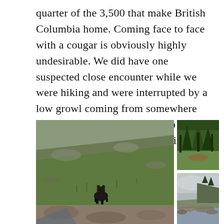quarter of the 3,500 that make British Columbia home. Coming face to face with a cougar is obviously highly undesirable. We did have one suspected close encounter while we were hiking and were interrupted by a low growl coming from somewhere deep in the woods. Needless to say, we booked it out of there at lightning speed.
[Figure (photo): Black bear standing on a grassy rocky hillside slope]
[Figure (photo): Forest clearing with trees and a fallen log or animal in distance]
[Figure (photo): Rocky coastal shoreline with forested cliffs and overcast sky]